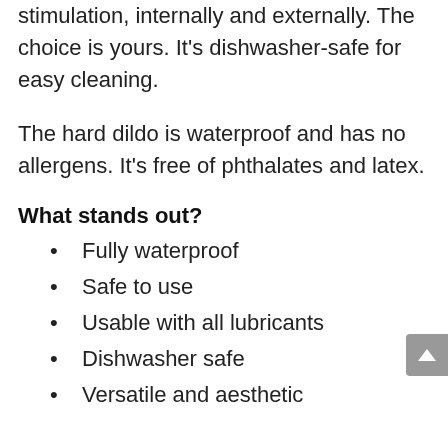stimulation, internally and externally. The choice is yours. It's dishwasher-safe for easy cleaning.
The hard dildo is waterproof and has no allergens. It's free of phthalates and latex.
What stands out?
Fully waterproof
Safe to use
Usable with all lubricants
Dishwasher safe
Versatile and aesthetic